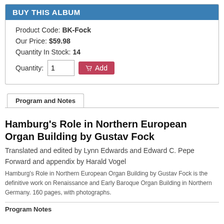BUY THIS ALBUM
Product Code: BK-Fock
Our Price: $59.98
Quantity In Stock: 14
Quantity: 1  Add
Program and Notes
Hamburg's Role in Northern European Organ Building by Gustav Fock
Translated and edited by Lynn Edwards and Edward C. Pepe
Forward and appendix by Harald Vogel
Hamburg's Role in Northern European Organ Building by Gustav Fock is the definitive work on Renaissance and Early Baroque Organ Building in Northern Germany. 160 pages, with photographs.
Program Notes